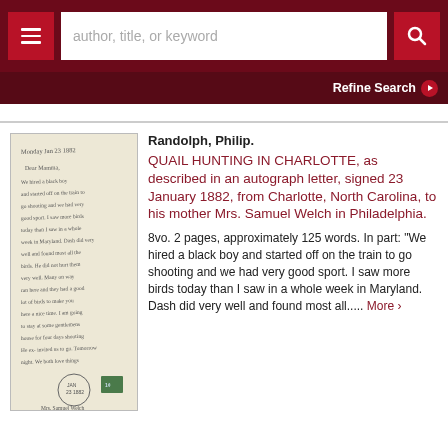author, title, or keyword [search bar with menu and search buttons]
Refine Search
[Figure (photo): Photograph of a handwritten letter dated Monday Jan 23, 1882, addressed to Mrs. Samuel Welch, with a green stamp postmark.]
Randolph, Philip.
QUAIL HUNTING IN CHARLOTTE, as described in an autograph letter, signed 23 January 1882, from Charlotte, North Carolina, to his mother Mrs. Samuel Welch in Philadelphia.
8vo. 2 pages, approximately 125 words. In part: "We hired a black boy and started off on the train to go shooting and we had very good sport. I saw more birds today than I saw in a whole week in Maryland. Dash did very well and found most all..... More >